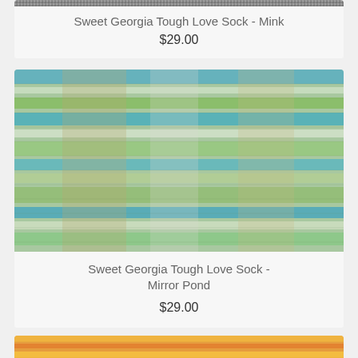[Figure (photo): Close-up of gray/dark knitted yarn texture - Sweet Georgia Tough Love Sock Mink colorway (partial, cropped at top)]
Sweet Georgia Tough Love Sock - Mink
$29.00
[Figure (photo): Close-up of variegated knitted yarn texture in blue, green, white, and tan colors - Sweet Georgia Tough Love Sock Mirror Pond colorway]
Sweet Georgia Tough Love Sock - Mirror Pond
$29.00
[Figure (photo): Close-up of variegated knitted yarn texture in orange and yellow tones (partially visible at bottom)]